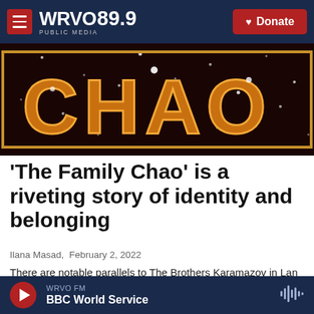WRVO 89.9 PUBLIC MEDIA | Donate
[Figure (photo): Book cover showing 'CHAO' in large orange neon-style letters on a dark starry background]
'The Family Chao' is a riveting story of identity and belonging
Ilana Masad, February 2, 2022
There are notable parallels to The Brothers Karamazov in Lan Samantha Chang's new novel about three brothers and the contentious relationship between them and their domineering
WRVO FM BBC World Service